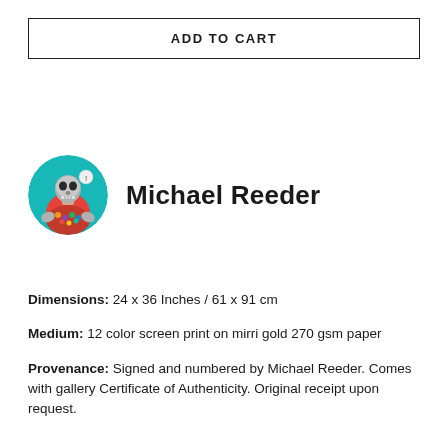ADD TO CART
[Figure (illustration): Circular avatar image of Michael Reeder artwork — a skeleton figure wearing a colorful robe with teal background]
Michael Reeder
Dimensions: 24 x 36 Inches / 61 x 91 cm
Medium: 12 color screen print on mirri gold 270 gsm paper
Provenance: Signed and numbered by Michael Reeder. Comes with gallery Certificate of Authenticity. Original receipt upon request.